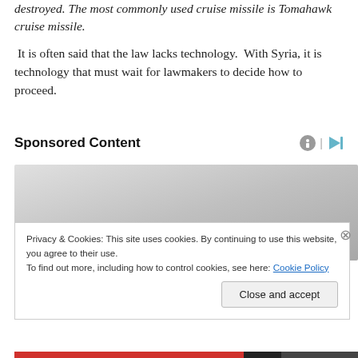destroyed. The most commonly used cruise missile is Tomahawk cruise missile.
It is often said that the law lacks technology. With Syria, it is technology that must wait for lawmakers to decide how to proceed.
Sponsored Content
[Figure (other): Gray gradient advertisement placeholder area]
Privacy & Cookies: This site uses cookies. By continuing to use this website, you agree to their use.
To find out more, including how to control cookies, see here: Cookie Policy
Close and accept